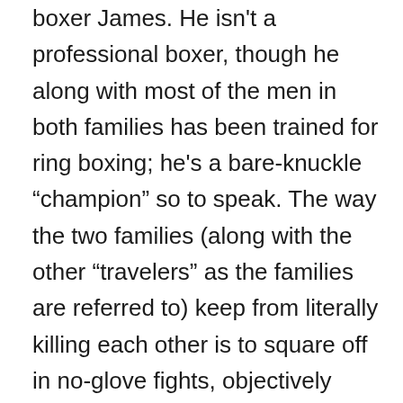boxer James. He isn't a professional boxer, though he along with most of the men in both families has been trained for ring boxing; he's a bare-knuckle “champion” so to speak. The way the two families (along with the other “travelers” as the families are referred to) keep from literally killing each other is to square off in no-glove fights, objectively refereed by members of families that are not involved in the fight. Ever since James started fighting and representing his family name he’s never lost. He also would rather not feel compelled to do it.
James may be the individual the camera latches